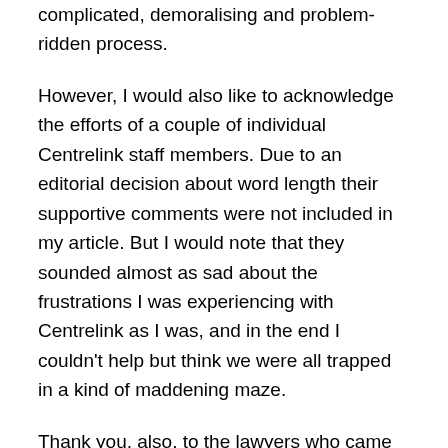complicated, demoralising and problem-ridden process.
However, I would also like to acknowledge the efforts of a couple of individual Centrelink staff members. Due to an editorial decision about word length their supportive comments were not included in my article. But I would note that they sounded almost as sad about the frustrations I was experiencing with Centrelink as I was, and in the end I couldn’t help but think we were all trapped in a kind of maddening maze.
Thank you, also, to the lawyers who came forward with suggestions after reading my article. All my love to those who work in this system and who wish for the system to work justly.
Something is going very, very wrong in government policy at the moment. But I am filled with hope because it has